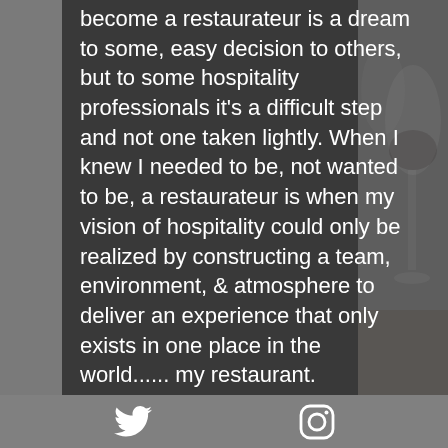become a restaurateur is a dream to some, easy decision to others, but to some hospitality professionals it's a difficult step and not one taken lightly. When I knew I needed to be, not wanted to be, a restaurateur is when my vision of hospitality could only be realized by constructing a team, environment, & atmosphere to deliver an experience that only exists in one place in the world...... my restaurant.
Becoming a restaurateur is something many people have always dreamed of...the glory, the
[Figure (photo): Background image showing wine glasses on a table, grayscale/dark themed. Partially visible on right side of page.]
Twitter icon | Instagram icon